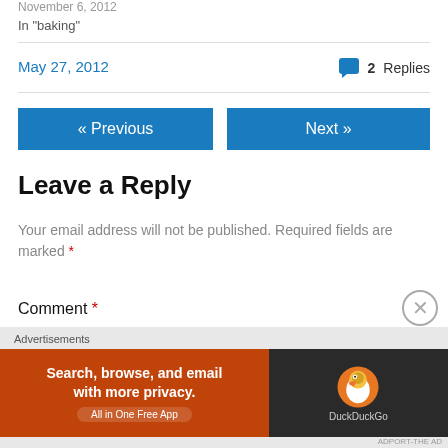November 6, 2012
In "baking"
May 27, 2012
2 Replies
« Previous
Next »
Leave a Reply
Your email address will not be published. Required fields are marked *
Comment *
Advertisements
[Figure (screenshot): DuckDuckGo advertisement banner: orange section with text 'Search, browse, and email with more privacy. All in One Free App' and dark section with DuckDuckGo duck logo]